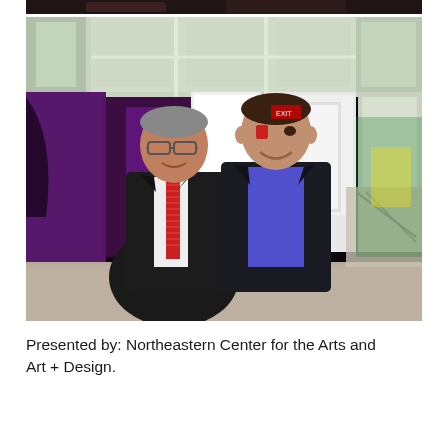[Figure (photo): Partial view of a photo at the top of the page, cropped — shows a dark indoor scene.]
[Figure (photo): Two men standing together indoors in a modern, well-lit atrium or gallery space with large windows and purple ambient lighting. The man on the left is older, wearing glasses, a dark suit jacket, white shirt, and a red striped tie. The man on the right is younger, wearing a dark suit jacket and a purple/blue button-up shirt. Both are smiling at the camera.]
Presented by: Northeastern Center for the Arts and Art + Design.